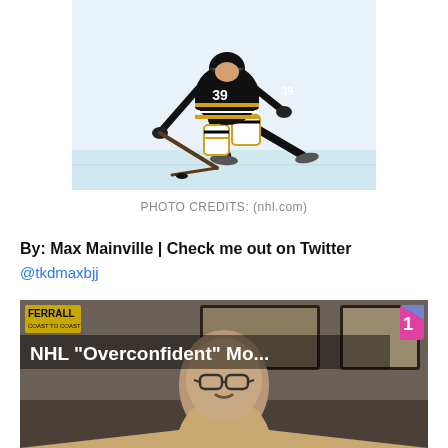[Figure (photo): Hockey player wearing Boston Bruins jersey number 39, skating on ice with a stick, in white, black and gold uniform]
PHOTO CREDITS: (nhl.com)
By: Max Mainville | Check me out on Twitter
@tkdmaxbjj
[Figure (screenshot): Video thumbnail from Ferrall Coast to Coast show with text overlay reading 'NHL "Overconfident" Mo...' with a man in glasses and tan jacket visible below, colorful logo in top right]